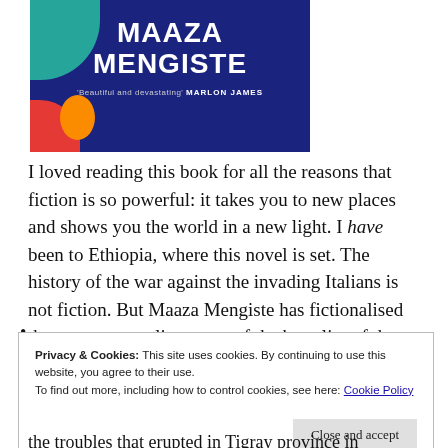[Figure (illustration): Book cover of a novel by Maaza Mengiste with dark blue background, colorful abstract shapes, white bold title text 'MAAZA MENGISTE', and quote 'Beautiful and devastating' MARLON JAMES]
I loved reading this book for all the reasons that fiction is so powerful: it takes you to new places and shows you the world in a new light. I have been to Ethiopia, where this novel is set. The history of the war against the invading Italians is not fiction. But Maaza Mengiste has fictionalised the events, revealing some of the brutality of the failed Italian colonial exercise.
•
Privacy & Cookies: This site uses cookies. By continuing to use this website, you agree to their use.
To find out more, including how to control cookies, see here: Cookie Policy
Close and accept
the troubles that erupted in Tigray province in